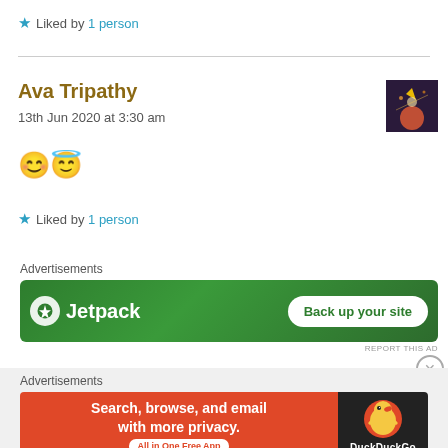★ Liked by 1 person
Ava Tripathy
13th Jun 2020 at 3:30 am
😊😇
★ Liked by 1 person
Advertisements
[Figure (screenshot): Jetpack advertisement banner with green background, Jetpack logo and 'Back up your site' button]
REPORT THIS AD
Advertisements
[Figure (screenshot): DuckDuckGo advertisement: Search, browse, and email with more privacy. All in One Free App.]